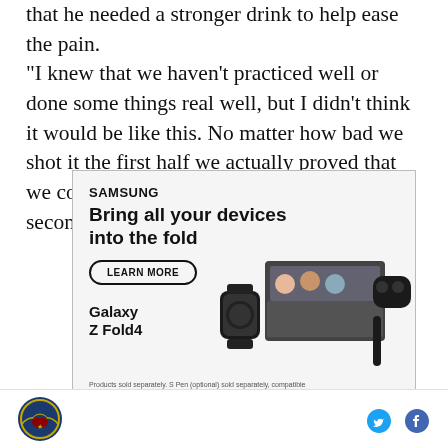"I knew that we haven't practiced well or done some things real well, but I didn't think it would be like this. No matter how bad we shot it the first half we actually proved that we could shoot it a heck of a lot worse in the second."
[Figure (infographic): Samsung advertisement: 'Bring all your devices into the fold' featuring Galaxy Z Fold4. Shows a LEARN MORE button, images of a foldable phone, smartwatch, wireless earbuds, and a stylus pen. Fine print: 'Products sold separately. S Pen (optional) sold separately, compatible...']
SB Nation logo | Twitter icon | Facebook icon